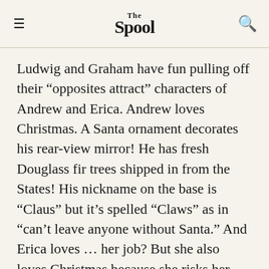The Spool
Ludwig and Graham have fun pulling off their “opposites attract” characters of Andrew and Erica. Andrew loves Christmas. A Santa ornament decorates his rear-view mirror! He has fresh Douglass fir trees shipped in from the States! His nickname on the base is “Claus” but it’s spelled “Claws” as in “can’t leave anyone without Santa.” And Erica loves … her job? But she also loves Christmas because she risks her promotion to help the mission. I enjoyed Graham in Netflix’s 2018 The Holiday Calendar, so I was excited to see her pop up on the screen. However, I felt like